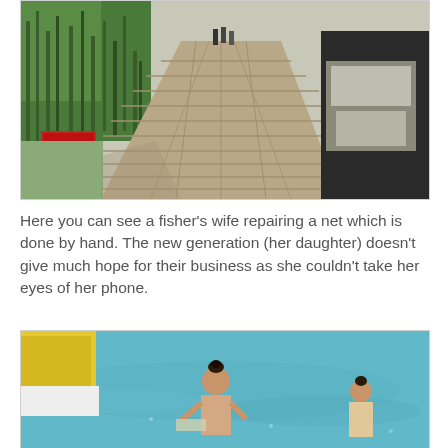[Figure (photo): Outdoor photo of a wooden boardwalk/dock extending forward with green reeds/vegetation on the left, a boat on the right, a red box on the lower left, and people visible in the distance at the far end.]
Here you can see a fisher's wife repairing a net which is done by hand. The new generation (her daughter) doesn't give much hope for their business as she couldn't take her eyes of her phone.
[Figure (photo): Photo of a woman and young girl near water with boats, the water is turquoise/blue, a yellow boat is visible on the left side.]